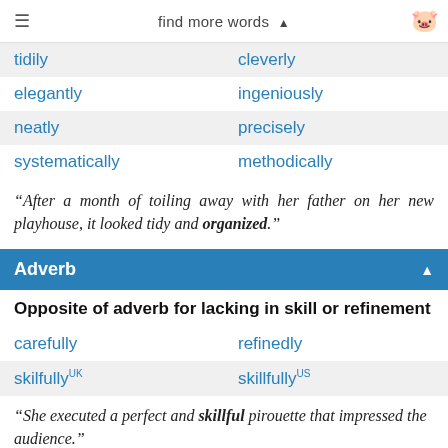find more words ▲
| tidily | cleverly |
| elegantly | ingeniously |
| neatly | precisely |
| systematically | methodically |
“After a month of toiling away with her father on her new playhouse, it looked tidy and organized.”
Adverb
Opposite of adverb for lacking in skill or refinement
| carefully | refinedly |
| skilfullyUK | skillfullyUS |
“She executed a perfect and skillful pirouette that impressed the audience.”